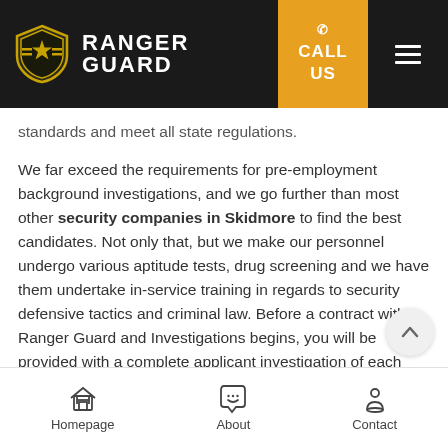RANGER GUARD | CALL US
standards and meet all state regulations.
We far exceed the requirements for pre-employment background investigations, and we go further than most other security companies in Skidmore to find the best candidates. Not only that, but we make our personnel undergo various aptitude tests, drug screening and we have them undertake in-service training in regards to security defensive tactics and criminal law. Before a contract with Ranger Guard and Investigations begins, you will be provided with a complete applicant investigation of each security guard being considered.
At Ranger Guard and Investigations, we offer for f...
Homepage | About | Contact